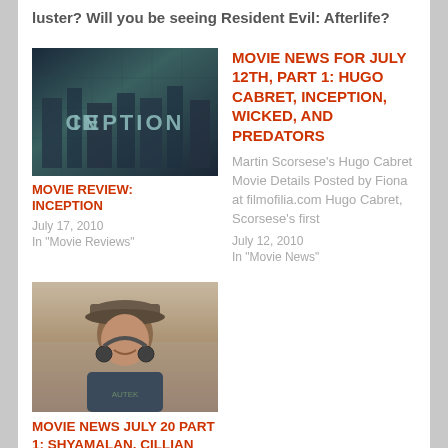luster? Will you be seeing Resident Evil: Afterlife?
[Figure (photo): Inception movie poster/title graphic with dark teal cityscape and large INCEPTION text]
MOVIE REVIEW: INCEPTION
July 17, 2010
In "Movie Reviews"
MOVIE NEWS FOR JULY 12TH, PART 1: HUGO CABRET, INCEPTION, WICKED, AND PREDATORS
Martin Scorsese's Hugo Cabret Movie Details Posted by Fiona at filmofilia.com Hugo Cabret, Scorsese's first
July 12, 2010
In "Movie News"
[Figure (photo): Photo of M. Night Shyamalan smiling, wearing a cap and headphones around neck]
MOVIE NEWS JULY 20 PART 1: SHYAMALAN, CILLIAN MURPHY